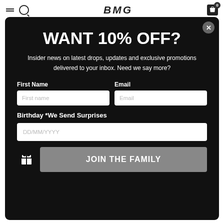BMG logo and navigation bar with hamburger menu, search, logo BMG, and cart icon
WANT 10% OFF?
Insider news on latest drops, updates and exclusive promotions delivered to your inbox. Need we say more?
First Name | Email (form fields)
Birthday *We Send Surprises
DD/MM/YYYY (date input field)
JOIN THE FAMILY (submit button)